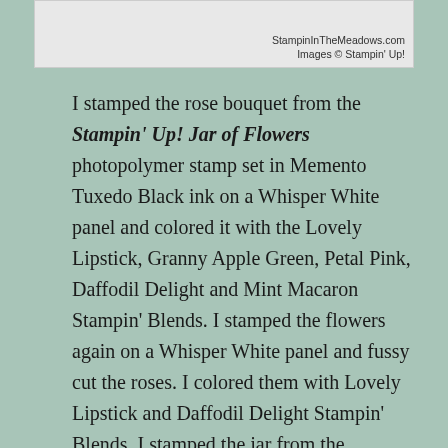[Figure (photo): Partial photo of a stamped floral card with watermark credits in bottom right]
I stamped the rose bouquet from the Stampin' Up! Jar of Flowers photopolymer stamp set in Memento Tuxedo Black ink on a Whisper White panel and colored it with the Lovely Lipstick, Granny Apple Green, Petal Pink, Daffodil Delight and Mint Macaron Stampin' Blends. I stamped the flowers again on a Whisper White panel and fussy cut the roses. I colored them with Lovely Lipstick and Daffodil Delight Stampin' Blends. I stamped the jar from the Stampin' Up! Jar of Flowers stamp set in Memento Tuxedo Black ink. I stamped the stems and colored them with Old Olive Stampin' Blends. I stamped the